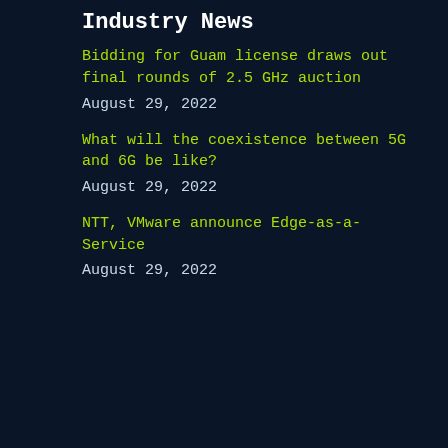Industry News
Bidding for Guam license draws out final rounds of 2.5 GHz auction
August 29, 2022
What will the coexistence between 5G and 6G be like?
August 29, 2022
NTT, VMware announce Edge-as-a-Service
August 29, 2022